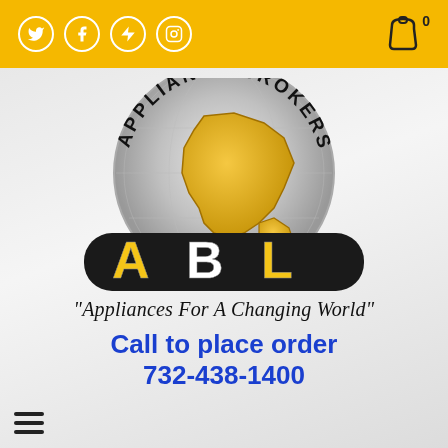Social icons: Twitter, Facebook, Lightning/Houzz, Instagram | Cart icon | 0
[Figure (logo): Appliance Brokers Ltd. logo: globe with North America in gold, encircled by black text 'APPLIANCE BROKERS LTD.' arcing around top and bottom, large black rounded rectangle banner with 'ABL' in gold and white bold letters]
"Appliances For A Changing World"
Call to place order 732-438-1400